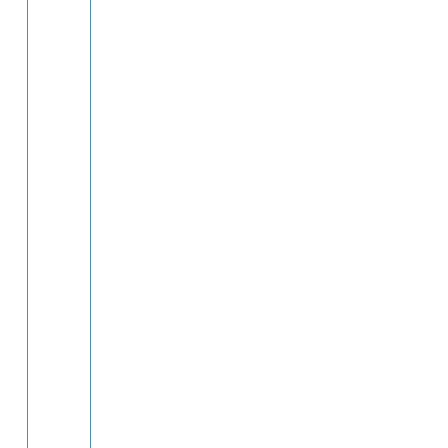1□: HMGC...
4□: PDE4A, PDE4B □, PDE4D □
2□: PTGS2 □
1□: PTGS...